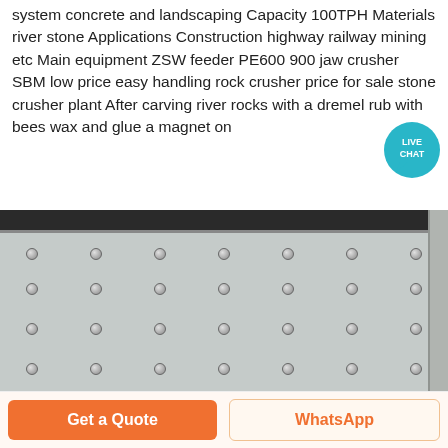system concrete and landscaping Capacity 100TPH Materials river stone Applications Construction highway railway mining etc Main equipment ZSW feeder PE600 900 jaw crusher SBM low price easy handling rock crusher price for sale stone crusher plant After carving river rocks with a dremel rub with bees wax and glue a magnet on
[Figure (illustration): Live Chat speech bubble icon — teal circle with 'LIVE CHAT' text]
Learn More
[Figure (photo): Close-up photo of a metal vibrating screen panel with rows of bolts/nuts on a grey perforated plate, with dark top rail]
Get a Quote
WhatsApp